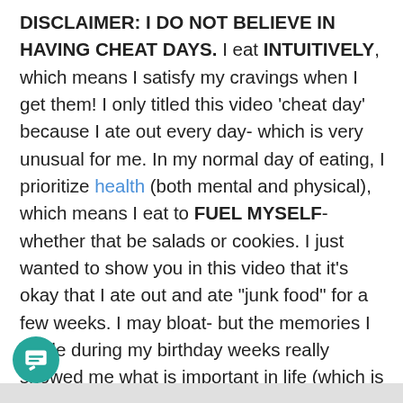DISCLAIMER: I DO NOT BELIEVE IN HAVING CHEAT DAYS. I eat INTUITIVELY, which means I satisfy my cravings when I get them! I only titled this video 'cheat day' because I ate out every day- which is very unusual for me. In my normal day of eating, I prioritize health (both mental and physical), which means I eat to FUEL MYSELF- whether that be salads or cookies. I just wanted to show you in this video that it's okay that I ate out and ate "junk food" for a few weeks. I may bloat- but the memories I made during my birthday weeks really showed me what is important in life (which is NOT how I look!!). So if this video triggers you, please don't watch it! I only want to spread good vibes and spread positive energy and let you know that it IS possible to recover! Please do not use this video as a blueprint of how you should eat. I am not a dietician or nutritionist, so this is all